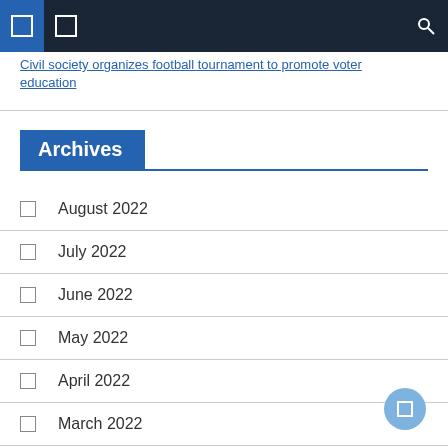Navigation bar with icons
Civil society organizes football tournament to promote voter education
Archives
August 2022
July 2022
June 2022
May 2022
April 2022
March 2022